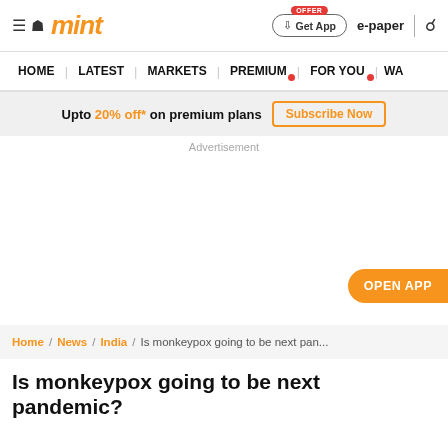mint | Get App | e-paper
HOME | LATEST | MARKETS | PREMIUM | FOR YOU | WA
Upto 20% off* on premium plans Subscribe Now
Advertisement
OPEN APP
Home / News / India / Is monkeypox going to be next pan...
Is monkeypox going to be next pandemic?